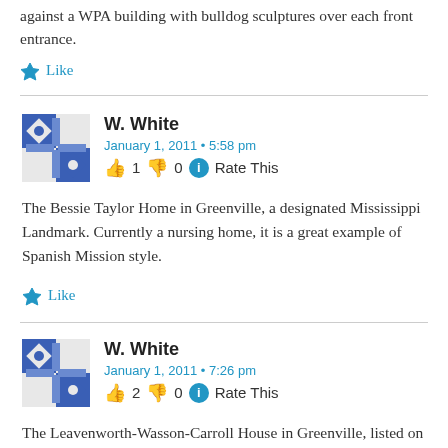against a WPA building with bulldog sculptures over each front entrance.
Like
W. White
January 1, 2011 • 5:58 pm
👍 1 👎 0 ℹ Rate This
The Bessie Taylor Home in Greenville, a designated Mississippi Landmark. Currently a nursing home, it is a great example of Spanish Mission style.
Like
W. White
January 1, 2011 • 7:26 pm
👍 2 👎 0 ℹ Rate This
The Leavenworth-Wasson-Carroll House in Greenville, listed on the National Register. One could almost refer to